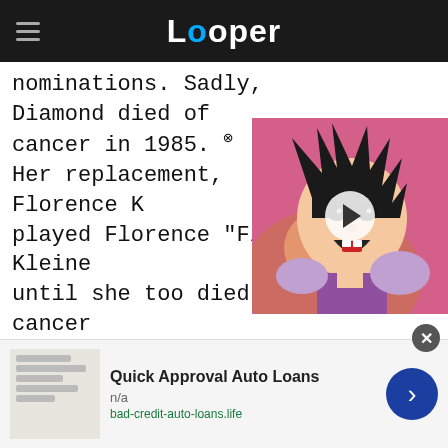Looper
nominations. Sadly, Diamond died of cancer in 1985. Her replacement, Florence K played Florence "Flo" Kleine until she too died of cancer
[Figure (screenshot): Video thumbnail showing an anime character (Dragon Ball style) with a play button overlay]
[Figure (screenshot): Advertisement banner: Quick Approval Auto Loans, n/a, bad-credit-auto-loans.life]